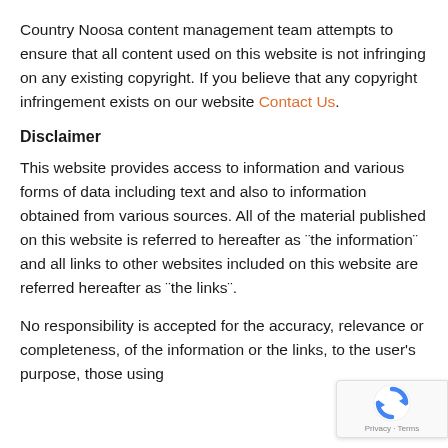Country Noosa content management team attempts to ensure that all content used on this website is not infringing on any existing copyright. If you believe that any copyright infringement exists on our website Contact Us.
Disclaimer
This website provides access to information and various forms of data including text and also to information obtained from various sources. All of the material published on this website is referred to hereafter as ¨the information¨ and all links to other websites included on this website are referred hereafter as ¨the links¨.
No responsibility is accepted for the accuracy, relevance or completeness, of the information or the links, to the user's purpose, those using